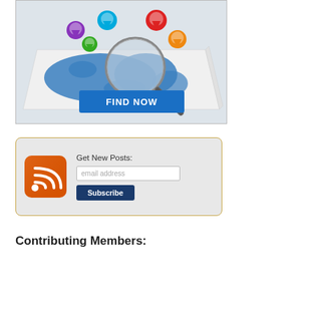[Figure (illustration): A 3D world map with colorful location pin markers (purple, blue, green, red, orange) and a magnifying glass over it. A blue button labeled 'FIND NOW' at the bottom.]
[Figure (infographic): A subscription box with an orange RSS feed icon, text 'Get New Posts:', an email address input field, and a dark blue 'Subscribe' button.]
Contributing Members:
Dynamics CRM/365 Partners
Dynamics CRM/365 Add-on Providers